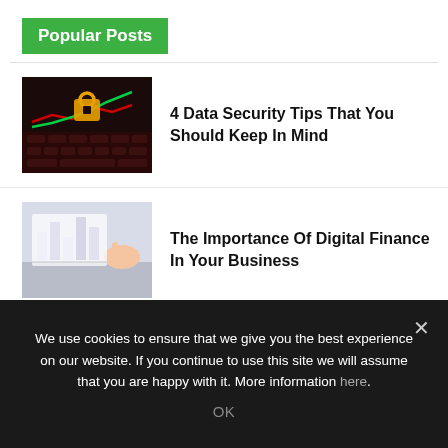Popular Posts
[Figure (photo): Stock market chart with red and green candlestick indicators on a keyboard background]
4 Data Security Tips That You Should Keep In Mind
[Figure (photo): Person working with financial charts and graphs on a desk]
The Importance Of Digital Finance In Your Business
[Figure (photo): Social media marketing illustration with smartphone and person]
The Latest Social Media Marketing Trends That You Should Use...
We use cookies to ensure that we give you the best experience on our website. If you continue to use this site we will assume that you are happy with it. More information here.
OK